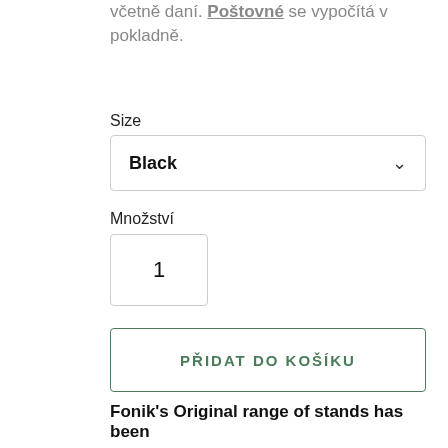včetně daní. Poštovné se vypočítá v pokladně.
Size
[Figure (screenshot): Dropdown selector showing 'Black' with a chevron arrow]
Množství
[Figure (screenshot): Quantity input box showing value 1]
PŘIDAT DO KOŠÍKU
Fonik's Original range of stands has been